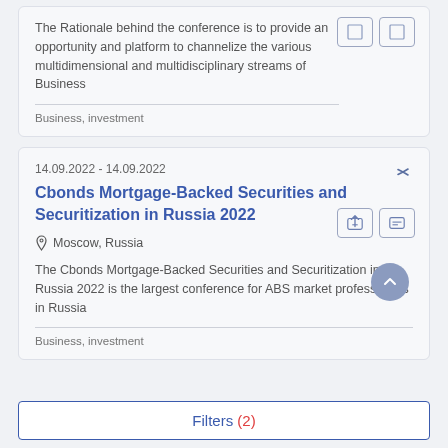The Rationale behind the conference is to provide an opportunity and platform to channelize the various multidimensional and multidisciplinary streams of Business
Business, investment
14.09.2022 - 14.09.2022
Cbonds Mortgage-Backed Securities and Securitization in Russia 2022
Moscow, Russia
The Cbonds Mortgage-Backed Securities and Securitization in Russia 2022 is the largest conference for ABS market professionals in Russia
Business, investment
Filters (2)